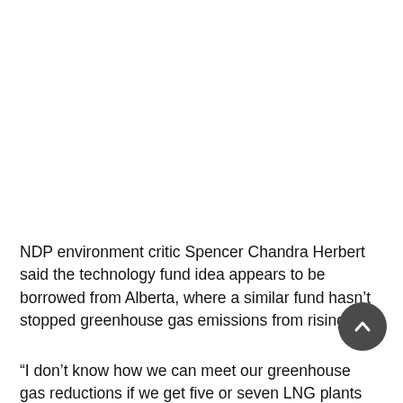NDP environment critic Spencer Chandra Herbert said the technology fund idea appears to be borrowed from Alberta, where a similar fund hasn't stopped greenhouse gas emissions from rising.
“I don’t know how we can meet our greenhouse gas reductions if we get five or seven LNG plants that the